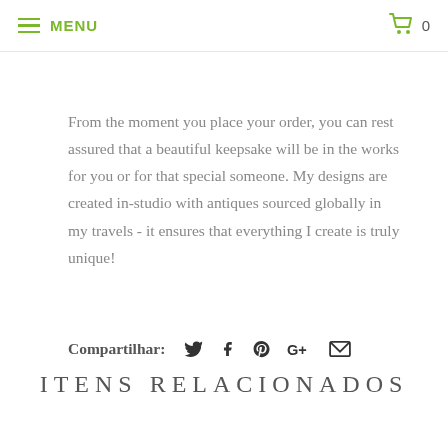MENU  0
From the moment you place your order, you can rest assured that a beautiful keepsake will be in the works for you or for that special someone. My designs are created in-studio with antiques sourced globally in my travels - it ensures that everything I create is truly unique!
Compartilhar:
ITENS RELACIONADOS